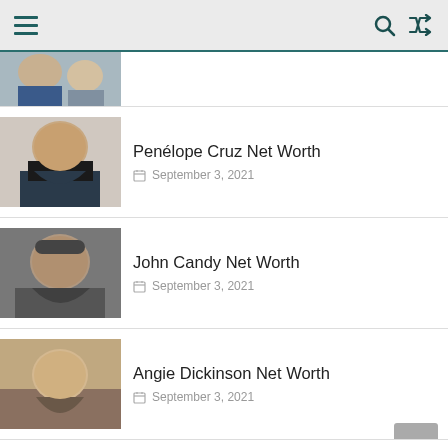Navigation header with menu, search, and shuffle icons
[Figure (photo): Partial photo of two people, cropped at top of page]
[Figure (photo): Photo of Penélope Cruz]
Penélope Cruz Net Worth
September 3, 2021
[Figure (photo): Photo of John Candy waving]
John Candy Net Worth
September 3, 2021
[Figure (photo): Photo of Angie Dickinson]
Angie Dickinson Net Worth
September 3, 2021
[Figure (photo): Partial photo of Jake Gyllenhaal]
Jake Gyllenhaal Net Worth